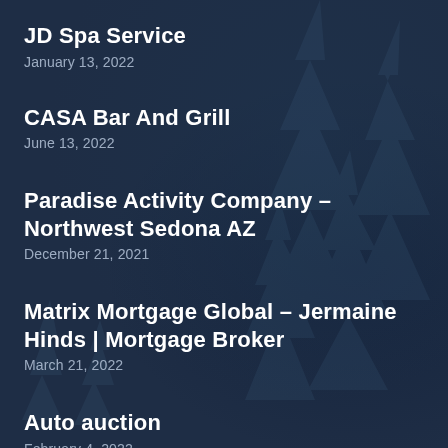JD Spa Service
January 13, 2022
CASA Bar And Grill
June 13, 2022
Paradise Activity Company – Northwest Sedona AZ
December 21, 2021
Matrix Mortgage Global – Jermaine Hinds | Mortgage Broker
March 21, 2022
Auto auction
February 4, 2022